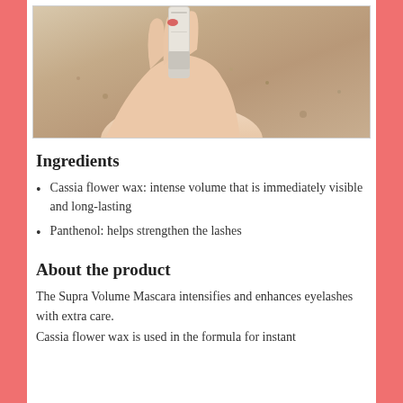[Figure (photo): A hand holding a mascara tube (Supra Volume Mascara) against a sandy/gravelly outdoor background]
Ingredients
Cassia flower wax: intense volume that is immediately visible and long-lasting
Panthenol: helps strengthen the lashes
About the product
The Supra Volume Mascara intensifies and enhances eyelashes with extra care.
Cassia flower wax is used in the formula for instant